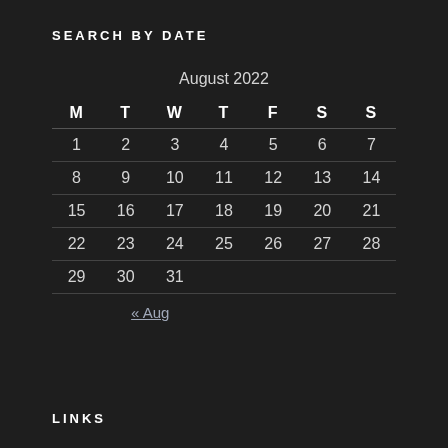SEARCH BY DATE
| M | T | W | T | F | S | S |
| --- | --- | --- | --- | --- | --- | --- |
| 1 | 2 | 3 | 4 | 5 | 6 | 7 |
| 8 | 9 | 10 | 11 | 12 | 13 | 14 |
| 15 | 16 | 17 | 18 | 19 | 20 | 21 |
| 22 | 23 | 24 | 25 | 26 | 27 | 28 |
| 29 | 30 | 31 |  |  |  |  |
« Aug
LINKS